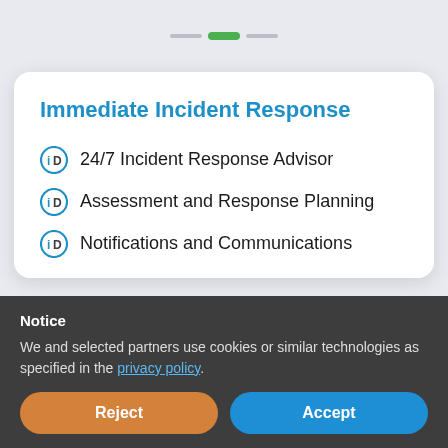Immediate Incident Response
24/7 Incident Response Advisor
Assessment and Response Planning
Notifications and Communications
Notice
We and selected partners use cookies or similar technologies as specified in the privacy policy.
Reject
Accept